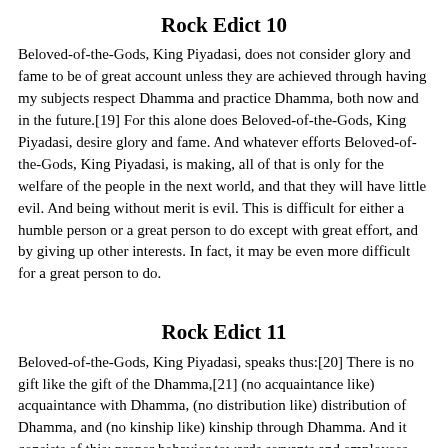Rock Edict 10
Beloved-of-the-Gods, King Piyadasi, does not consider glory and fame to be of great account unless they are achieved through having my subjects respect Dhamma and practice Dhamma, both now and in the future.[19] For this alone does Beloved-of-the-Gods, King Piyadasi, desire glory and fame. And whatever efforts Beloved-of-the-Gods, King Piyadasi, is making, all of that is only for the welfare of the people in the next world, and that they will have little evil. And being without merit is evil. This is difficult for either a humble person or a great person to do except with great effort, and by giving up other interests. In fact, it may be even more difficult for a great person to do.
Rock Edict 11
Beloved-of-the-Gods, King Piyadasi, speaks thus:[20] There is no gift like the gift of the Dhamma,[21] (no acquaintance like) acquaintance with Dhamma, (no distribution like) distribution of Dhamma, and (no kinship like) kinship through Dhamma. And it consists of this: proper behavior towards servants and employees, respect for mother and father, generosity to friends, companions, relations, Brahmans and ascetics, and not killing living beings.